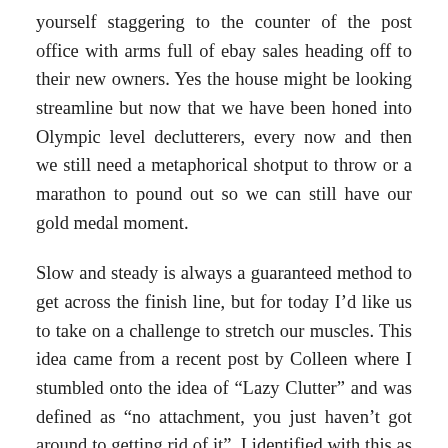yourself staggering to the counter of the post office with arms full of ebay sales heading off to their new owners. Yes the house might be looking streamline but now that we have been honed into Olympic level declutterers, every now and then we still need a metaphorical shotput to throw or a marathon to pound out so we can still have our gold medal moment.
Slow and steady is always a guaranteed method to get across the finish line, but for today I'd like us to take on a challenge to stretch our muscles. This idea came from a recent post by Colleen where I stumbled onto the idea of “Lazy Clutter” and was defined as “no attachment, you just haven’t got around to getting rid of it”. I identified with this as I have plenty of space now in all my cupboards, but there are probably still things which don’t have any reason to stay either. The bar of deservedness (as in deserving to stay in my house) has risen and what